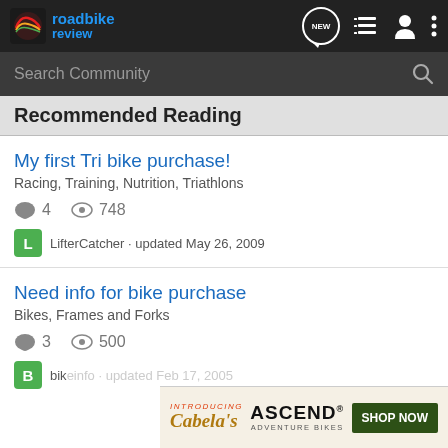roadbike review
Search Community
Recommended Reading
My first Tri bike purchase! | Racing, Training, Nutrition, Triathlons | 4 comments, 748 views | LifterCatcher · updated May 26, 2009
Need info for bike purchase | Bikes, Frames and Forks | 3 comments, 500 views | bik... updated Feb 17, 2005
[Figure (screenshot): Cabela's ASCEND Adventure Bikes advertisement banner with INTRODUCING text, Cabela's script logo, ASCEND in bold, and SHOP NOW button]